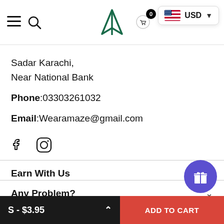Navigation header with hamburger menu, search icon, logo (A arrow), cart icons, and USD currency selector
Sadar Karachi,
Near National Bank
Phone:03303261032
Email:Wearamaze@gmail.com
[Figure (other): Facebook and Instagram social media icons]
Earn With Us
Any Problem?
NEWSLETTER
S - $3.95   ADD TO CART